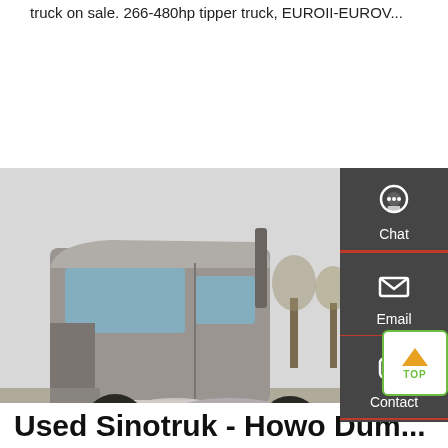truck on sale. 266-480hp tipper truck, EUROII-EUROV...
[Figure (other): Green Get a Quote button]
[Figure (photo): Photo of a used Sinotruk Howo dump truck tractor unit, silver/grey cab, parked in a yard with other trucks and trees in background]
[Figure (infographic): Dark sidebar with Chat (headset icon), Email (envelope icon), Contact (speech bubble icon) buttons and red dividers, plus a TOP (arrow up) button with green border]
Used Sinotruk - Howo Dum...